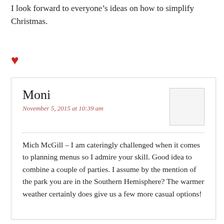I look forward to everyone’s ideas on how to simplify Christmas.
[Figure (illustration): Red heart icon/emoji]
Moni
November 5, 2015 at 10:39 am

Mich McGill – I am cateringly challenged when it comes to planning menus so I admire your skill. Good idea to combine a couple of parties. I assume by the mention of the park you are in the Southern Hemisphere? The warmer weather certainly does give us a few more casual options!